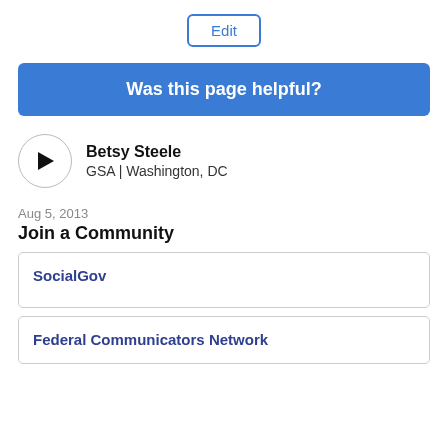Edit
Was this page helpful?
Betsy Steele
GSA | Washington, DC
Aug 5, 2013
Join a Community
SocialGov
Federal Communicators Network